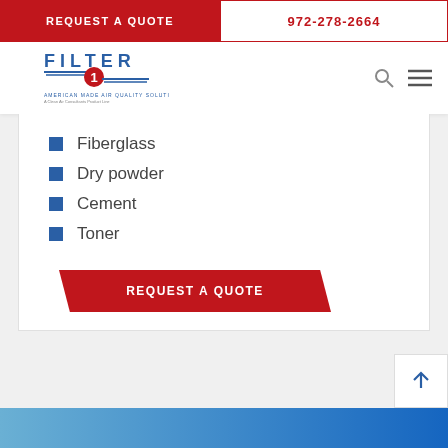REQUEST A QUOTE | 972-278-2664
[Figure (logo): Filter One American Made Air Quality Solutions logo]
Fiberglass
Dry powder
Cement
Toner
REQUEST A QUOTE